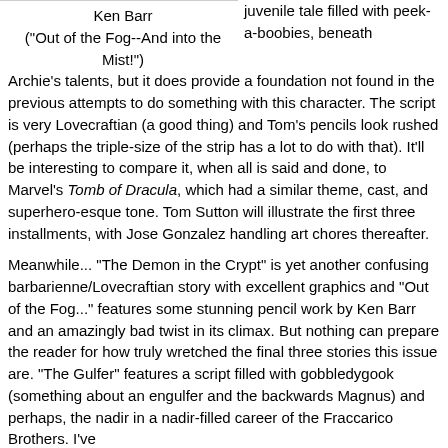Ken Barr
("Out of the Fog--And into the Mist!")
juvenile tale filled with peek-a-boobies, beneath Archie's talents, but it does provide a foundation not found in the previous attempts to do something with this character. The script is very Lovecraftian (a good thing) and Tom's pencils look rushed (perhaps the triple-size of the strip has a lot to do with that). It'll be interesting to compare it, when all is said and done, to Marvel's Tomb of Dracula, which had a similar theme, cast, and superhero-esque tone. Tom Sutton will illustrate the first three installments, with Jose Gonzalez handling art chores thereafter.
Meanwhile... "The Demon in the Crypt" is yet another confusing barbarienne/Lovecraftian story with excellent graphics and "Out of the Fog..." features some stunning pencil work by Ken Barr and an amazingly bad twist in its climax. But nothing can prepare the reader for how truly wretched the final three stories this issue are. "The Gulfer" features a script filled with gobbledygook (something about an engulfer and the backwards Magnus) and perhaps, the nadir in a nadir-filled career of the Fraccarico Brothers. I've